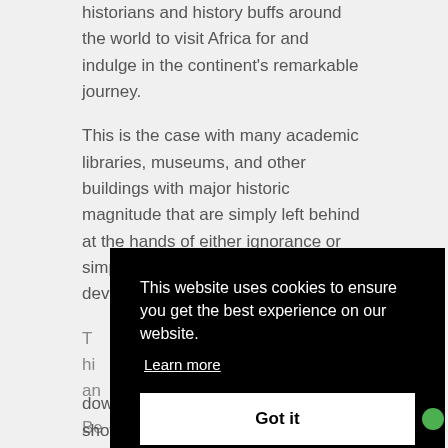historians and history buffs around the world to visit Africa for and indulge in the continent's remarkable journey.
This is the case with many academic libraries, museums, and other buildings with major historic magnitude that are simply left behind at the hands of either ignorance or simply a lack of resources in developing nations.
Th... hi... an...
Be... co... Bu...
down and so did his avenues of showcasing his work.
[Figure (screenshot): Cookie consent overlay on a black background with message 'This website uses cookies to ensure you get the best experience on our website.' with a 'Learn more' link and a 'Got it' button.]